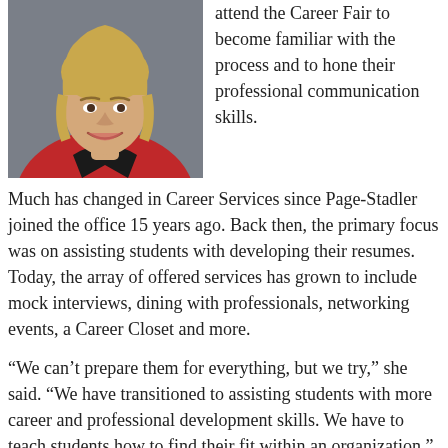[Figure (photo): Portrait photo of a woman with short blonde hair wearing a red jacket with a black collar, smiling, against a grey background.]
attend the Career Fair to become familiar with the process and to hone their professional communication skills.
Much has changed in Career Services since Page-Stadler joined the office 15 years ago. Back then, the primary focus was on assisting students with developing their resumes. Today, the array of offered services has grown to include mock interviews, dining with professionals, networking events, a Career Closet and more.
“We can’t prepare them for everything, but we try,” she said. “We have transitioned to assisting students with more career and professional development skills. We have to teach students how to find their fit within an organization.